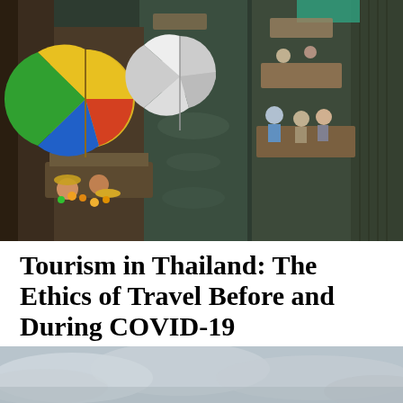[Figure (photo): Aerial view of a Thai floating market with colorful boats carrying goods and umbrellas navigating a narrow canal, vendors selling produce from boats.]
Tourism in Thailand: The Ethics of Travel Before and During COVID-19
by Marion Paparella
December 31, 2021
[Figure (photo): Partial view of a cloudy sky scene, bottom of page cut off.]